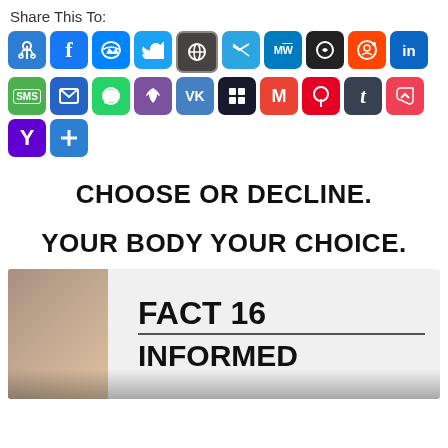Share This To:
[Figure (infographic): Grid of social media sharing icons: Copy Link, Facebook, Messenger, Twitter, WordPress, Telegram, MeWe, Snapchat, Reddit, LinkedIn, SMS, Email, WhatsApp, Viber, VK, Myspace, Gmail, Pinterest, Tumblr, Pocket, Yahoo, More]
CHOOSE OR DECLINE.
YOUR BODY YOUR CHOICE.
[Figure (photo): A hand holding a card that reads FACT 16 with a line underneath and INFORMED below]